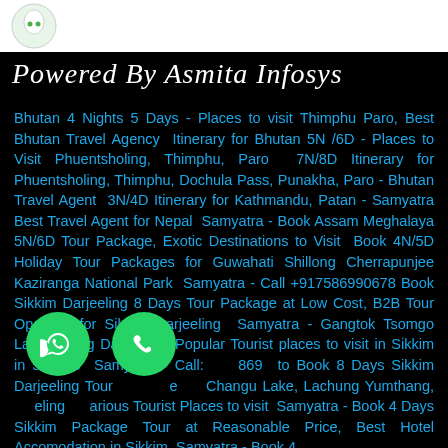Powered By Asmita Infosys
Bhutan 4 Nights 5 Days - Places to visit Thimphu Paro, Best Bhutan Travel Agency Itinerary for Bhutan 5N /6D - Places to Visit Phuentsholing, Thimphu, Paro 7N/8D Itinerary for Phuentsholing, Thimphu, Dochula Pass, Punakha, Paro - Bhutan Travel Agent 3N/4D Itinerary for Kathmandu, Patan - Samyatra Best Travel Agent for Nepal Samyatra - Book Assam Meghalaya 5N/6D Tour Package, Exotic Destinations to Visit Book 4N/5D Holiday Tour Packages for Guwahati Shillong Cherrapunjee Kaziranga National Park Samyatra - Call +917586990678 Book Sikkim Darjeeling 8 Days Tour Package at Low Cost, B2B Tour Operator for Sikkim Darjeeling Samyatra - Gangtok Tsomgo Lake Pelling Darjeeling, Popular Tourist places to visit in Sikkim in 5 Days Samyatra - Call: 8690 to Book 8 Days Sikkim Darjeeling Tour Changu Lake, Lachung Yumthang, Darjeeling Various Tourist Places to visit Samyatra - Book 4 Days Sikkim Package Tour at Reasonable Price, Best Hotel Accomodation in Sikkim Samyatra - Book 4